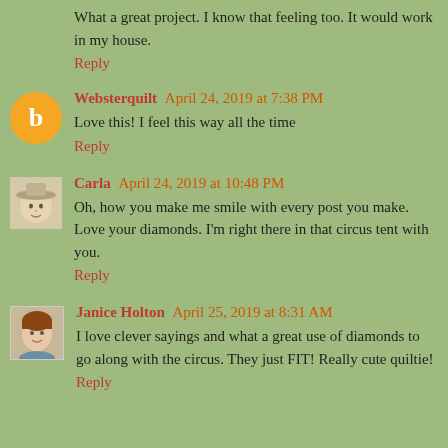What a great project. I know that feeling too. It would work in my house.
Reply
Websterquilt  April 24, 2019 at 7:38 PM
Love this! I feel this way all the time
Reply
Carla  April 24, 2019 at 10:48 PM
Oh, how you make me smile with every post you make. Love your diamonds. I'm right there in that circus tent with you.
Reply
Janice Holton  April 25, 2019 at 8:31 AM
I love clever sayings and what a great use of diamonds to go along with the circus. They just FIT! Really cute quiltie!
Reply